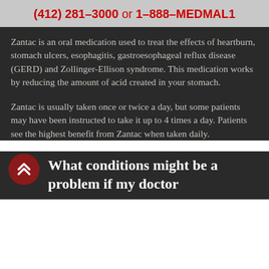(412) 281–3000 or 1–888–MEDMAL1
Zantac is an oral medication used to treat the effects of heartburn, stomach ulcers, esophagitis, gastroesophageal reflux disease (GERD) and Zollinger-Ellison syndrome. This medication works by reducing the amount of acid created in your stomach.
Zantac is usually taken once or twice a day, but some patients may have been instructed to take it up to 4 times a day. Patients see the highest benefit from Zantac when taken daily.
What conditions might be a problem if my doctor